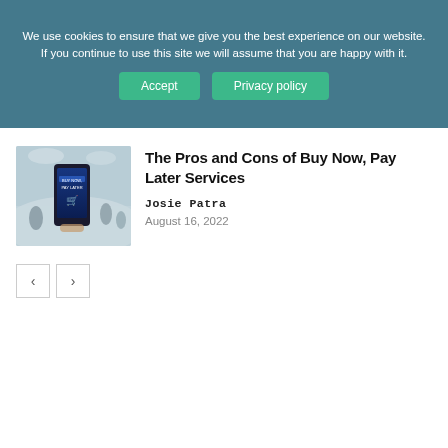We use cookies to ensure that we give you the best experience on our website. If you continue to use this site we will assume that you are happy with it.
Accept | Privacy policy
The Pros and Cons of Buy Now, Pay Later Services
Josie Patra
August 16, 2022